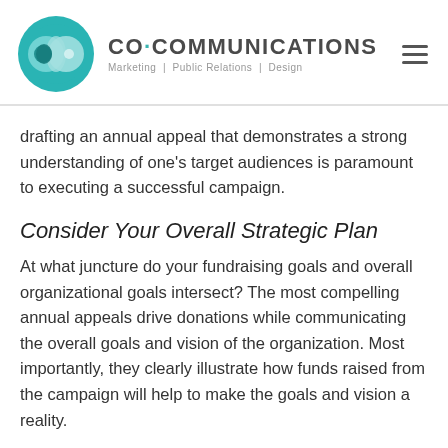CO·COMMUNICATIONS Marketing | Public Relations | Design
drafting an annual appeal that demonstrates a strong understanding of one's target audiences is paramount to executing a successful campaign.
Consider Your Overall Strategic Plan
At what juncture do your fundraising goals and overall organizational goals intersect? The most compelling annual appeals drive donations while communicating the overall goals and vision of the organization. Most importantly, they clearly illustrate how funds raised from the campaign will help to make the goals and vision a reality.
Annual appeals are an important component of a